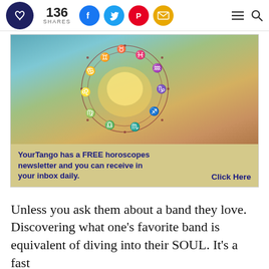YourTango — 136 SHARES
[Figure (illustration): Advertisement image showing two hands forming a heart shape with a zodiac wheel overlay. Below the image: YourTango has a FREE horoscopes newsletter and you can receive in your inbox daily. Click Here]
Unless you ask them about a band they love. Discovering what one's favorite band is equivalent of diving into their SOUL. It's a fast